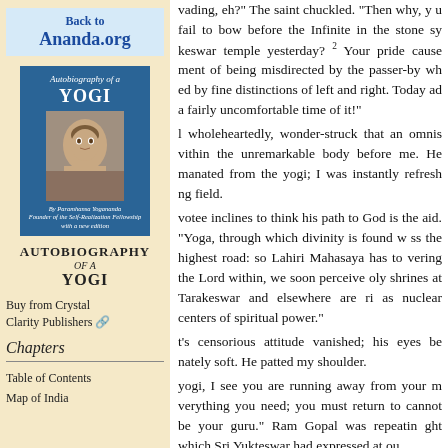Back to
Ananda.org
[Figure (illustration): Cover of Autobiography of a Yogi book, blue background with portrait of Paramhansa Yogananda]
AUTOBIOGRAPHY OF A YOGI
Buy from Crystal Clarity Publishers
Chapters
Table of Contents
Map of India
vading, eh?” The saint chuckled. “Then why, y u fail to bow before the Infinite in the stone sy keswar temple yesterday? 2 Your pride cause ment of being misdirected by the passer-by wh ed by fine distinctions of left and right. Today ad a fairly uncomfortable time of it!” l wholeheartedly, wonder-struck that an omnis vithin the unremarkable body before me. He manated from the yogi; I was instantly refresh ng field. votee inclines to think his path to God is the aid. “Yoga, through which divinity is found w ss the highest road: so Lahiri Mahasaya has to vering the Lord within, we soon perceive oly shrines at Tarakeswar and elsewhere are ri as nuclear centers of spiritual power.” t’s censorious attitude vanished; his eyes be nately soft. He patted my shoulder. yogi, I see you are running away from your m verything you need; you must return to cannot be your guru.” Ram Gopal was repeatin ght which Sri Yukteswar had expressed at ou s are under no cosmic compulsion to limit ’ My companion glanced at me quizzically. in India and Tibet have no monopoly on s